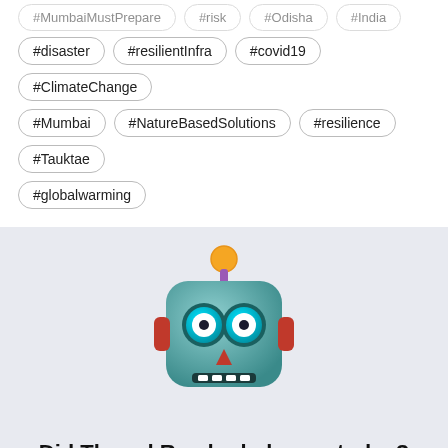#MumbaiMustPrepare #risk #Odisha #India
#disaster #resilientInfra #covid19 #ClimateChange
#Mumbai #NatureBasedSolutions #resilience #Tauktae
#globalwarming
[Figure (illustration): Robot emoji face illustration used as mascot for Thread Reader app]
Did Thread Reader help you today?